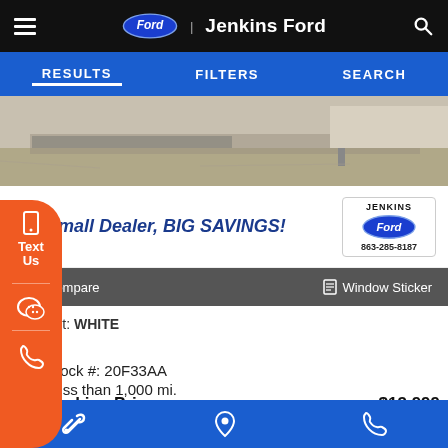Jenkins Ford
RESULTS | FILTERS | SEARCH
[Figure (photo): Partial view of a vehicle on a dealer lot, showing pavement and a post]
Small Dealer, BIG SAVINGS!
[Figure (logo): Jenkins Ford dealership logo with phone number 863-285-8187]
Compare
Window Sticker
Ext: WHITE
Stock #: 20F33AA
Less than 1,000 mi.
Jenkins Price    $13,999
Service | Location | Phone